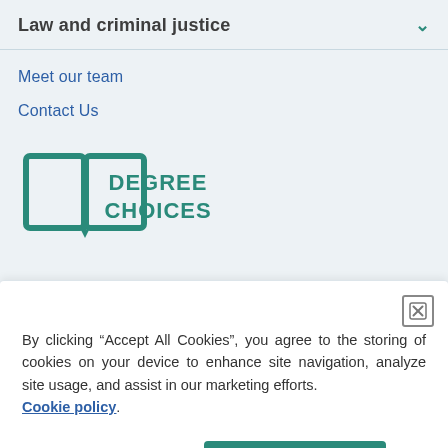Law and criminal justice
Meet our team
Contact Us
[Figure (logo): Degree Choices logo — open book icon in teal with DEGREE CHOICES text in teal capitals]
By clicking “Accept All Cookies”, you agree to the storing of cookies on your device to enhance site navigation, analyze site usage, and assist in our marketing efforts. Cookie policy.
Manage cookies
Accept all cookies